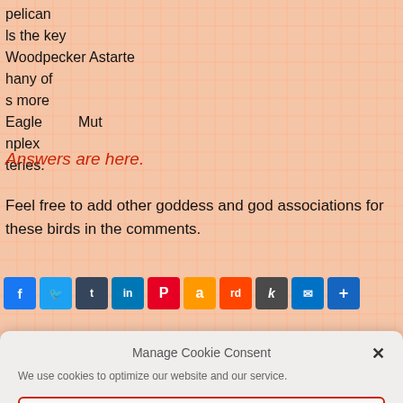pelican
ls the key
Woodpecker Astarte
hany of
s more
Eagle        Mut
nplex
teries.
Answers are here.
Feel free to add other goddess and god associations for these birds in the comments.
[Figure (other): Social sharing buttons: Facebook, Twitter, Tumblr, LinkedIn, Pinterest, Amazon, Reddit, Kindle, Email, Share]
Manage Cookie Consent
We use cookies to optimize our website and our service.
Accept
Cookie Policy